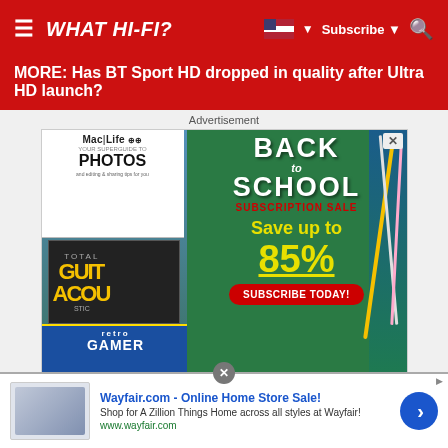WHAT HI-FI?
MORE: Has BT Sport HD dropped in quality after Ultra HD launch?
[Figure (advertisement): Back to School Subscription Sale advertisement for Mac Life and other magazines. Save up to 85%. Subscribe Today button. Features magazine covers stacked on left (Mac Life, Guitar Acoustic, Retro Gamer) and school supplies on right against green chalkboard background.]
[Figure (advertisement): Wayfair.com Online Home Store Sale banner ad with text: Shop for A Zillion Things Home across all styles at Wayfair! www.wayfair.com]